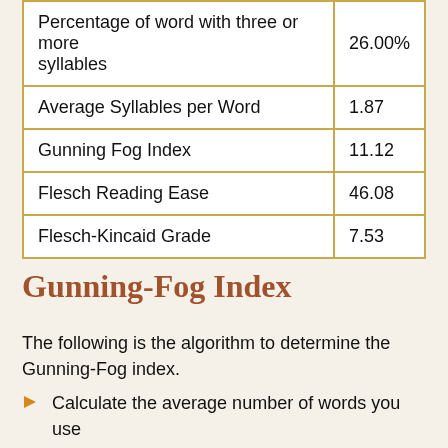| Metric | Value |
| --- | --- |
| Percentage of word with three or more syllables | 26.00% |
| Average Syllables per Word | 1.87 |
| Gunning Fog Index | 11.12 |
| Flesch Reading Ease | 46.08 |
| Flesch-Kincaid Grade | 7.53 |
Gunning-Fog Index
The following is the algorithm to determine the Gunning-Fog index.
Calculate the average number of words you use per sentence.